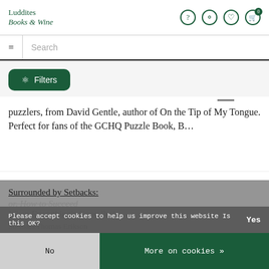Luddites Books & Wine
Search
Filters
puzzlers, from David Gentle, author of On the Tip of My Tongue. Perfect for fans of the GCHQ Puzzle Book, B…
Surrounded by Setbacks: or, How to Succeed When Everything's Gone Bad
SoftbackThomas Erikson
Please accept cookies to help us improve this website Is this OK? Yes
No
More on cookies »